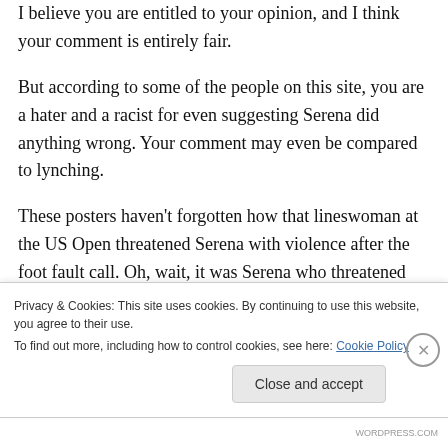I believe you are entitled to your opinion, and I think your comment is entirely fair.
But according to some of the people on this site, you are a hater and a racist for even suggesting Serena did anything wrong. Your comment may even be compared to lynching.
These posters haven't forgotten how that lineswoman at the US Open threatened Serena with violence after the foot fault call. Oh, wait, it was Serena who threatened the lineswoman.
Privacy & Cookies: This site uses cookies. By continuing to use this website, you agree to their use.
To find out more, including how to control cookies, see here: Cookie Policy
Close and accept